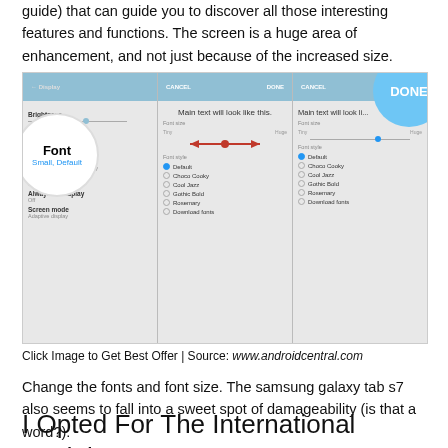guide) that can guide you to discover all those interesting features and functions. The screen is a huge area of enhancement, and not just because of the increased size.
[Figure (screenshot): Three side-by-side Android smartphone screenshots showing font settings. The first has a circle overlay highlighting 'Font Small, Default'. The second shows a font size slider with red arrows and a list of font options: Default, Choco Cooky, Cool Jazz, Gothic Bold, Rosemary, Download fonts. The third is similar with a 'DONE' circle button overlay.]
Click Image to Get Best Offer | Source: www.androidcentral.com
Change the fonts and font size. The samsung galaxy tab s7 also seems to fall into a sweet spot of damageability (is that a word?).
I Opted For The International Model Because I Knew [CLOSE] ould Get